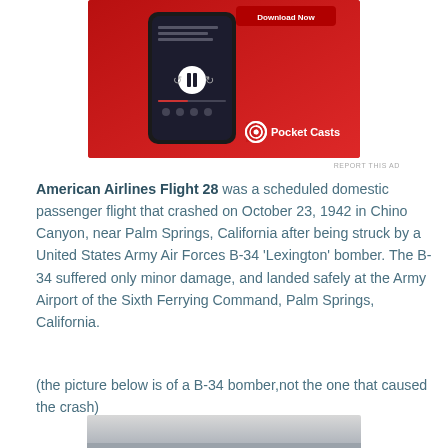[Figure (screenshot): Pocket Casts app advertisement showing a smartphone on a red background with 'Download Now' button and Pocket Casts logo]
REPORT THIS AD
American Airlines Flight 28 was a scheduled domestic passenger flight that crashed on October 23, 1942 in Chino Canyon, near Palm Springs, California after being struck by a United States Army Air Forces B-34 'Lexington' bomber. The B-34 suffered only minor damage, and landed safely at the Army Airport of the Sixth Ferrying Command, Palm Springs, California.
(the picture below is of a B-34 bomber,not the one that caused the crash)
[Figure (photo): Partial view of a B-34 bomber aircraft photograph]